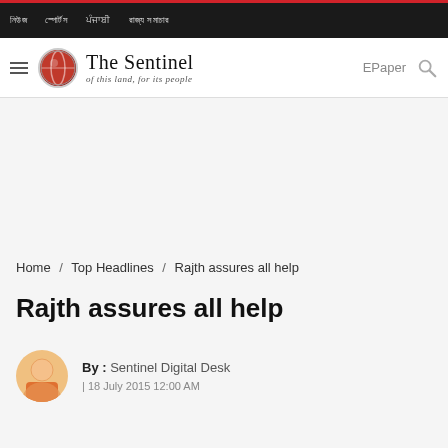Top nav bar with menu items in local script
[Figure (logo): The Sentinel newspaper logo with circular red globe icon and tagline 'of this land, for its people']
Home / Top Headlines / Rajth assures all help
Rajth assures all help
By : Sentinel Digital Desk | 18 July 2015 12:00 AM